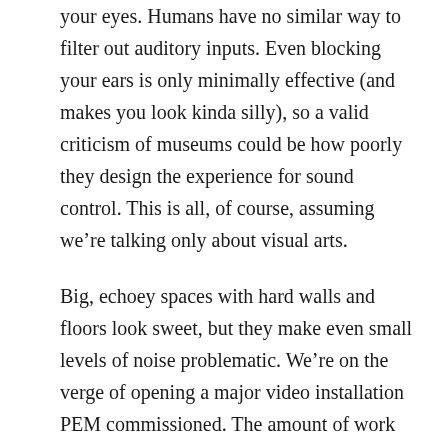your eyes. Humans have no similar way to filter out auditory inputs. Even blocking your ears is only minimally effective (and makes you look kinda silly), so a valid criticism of museums could be how poorly they design the experience for sound control. This is all, of course, assuming we're talking only about visual arts.
Big, echoey spaces with hard walls and floors look sweet, but they make even small levels of noise problematic. We're on the verge of opening a major video installation PEM commissioned. The amount of work we've done modifying acoustically “bright” galleries work for an installation that requires you to be able to hear spoken words is pretty major.